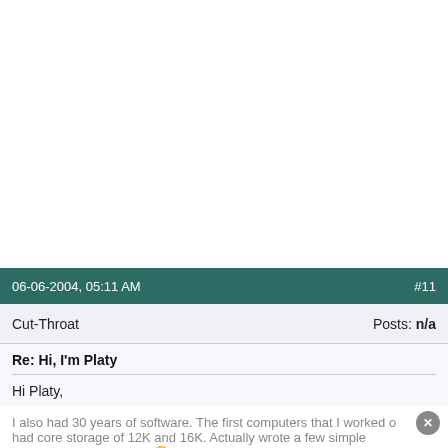06-06-2004, 05:11 AM  #11
Cut-Throat  Posts: n/a
Re: Hi, I'm Platy
Hi Platy,
I also had 30 years of software. The first computers that I worked on had core storage of 12K and 16K. Actually wrote a few simple programs in 1's and 0's.